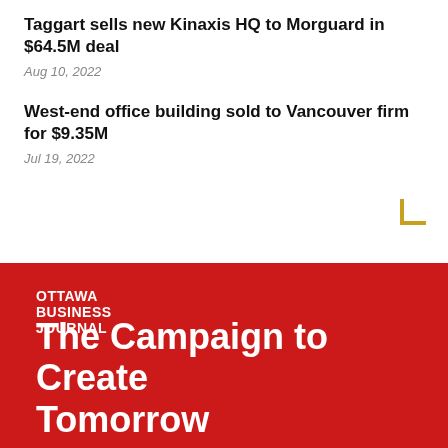Taggart sells new Kinaxis HQ to Morguard in $64.5M deal
Aug 10, 2022
West-end office building sold to Vancouver firm for $9.35M
Jul 19, 2022
[Figure (logo): Ottawa Business Journal logo in white text on red background]
The Campaign to Create Tomorrow